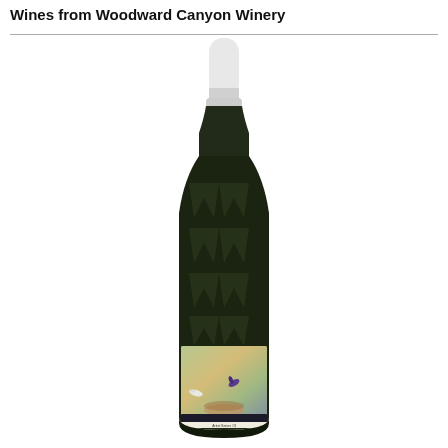Wines from Woodward Canyon Winery
[Figure (photo): A wine bottle from Woodward Canyon Winery. The bottle has a white capsule/foil at the top, a dark green/black bottle body with a large decorative 'W' pattern embossed or printed on it, and a colorful illustrated label near the bottom showing birds and natural imagery in soft green, gold, and purple tones.]